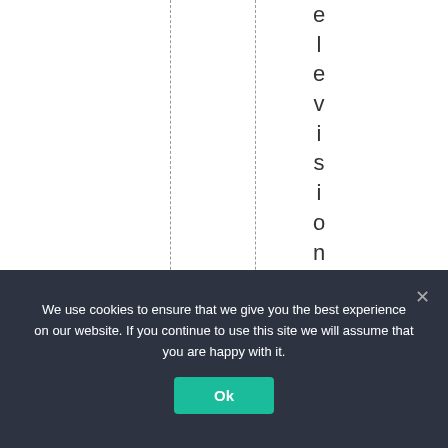[Figure (other): White area with two dashed vertical lines and vertical text reading 'elevisionchannel TV' running top to bottom on the right side]
We use cookies to ensure that we give you the best experience on our website. If you continue to use this site we will assume that you are happy with it.
Ok